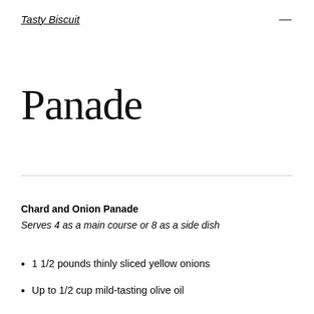Tasty Biscuit
Panade
Chard and Onion Panade
Serves 4 as a main course or 8 as a side dish
1 1/2 pounds thinly sliced yellow onions
Up to 1/2 cup mild-tasting olive oil